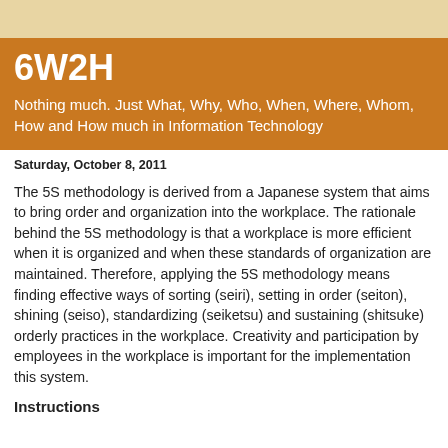6W2H
Nothing much. Just What, Why, Who, When, Where, Whom, How and How much in Information Technology
Saturday, October 8, 2011
The 5S methodology is derived from a Japanese system that aims to bring order and organization into the workplace. The rationale behind the 5S methodology is that a workplace is more efficient when it is organized and when these standards of organization are maintained. Therefore, applying the 5S methodology means finding effective ways of sorting (seiri), setting in order (seiton), shining (seiso), standardizing (seiketsu) and sustaining (shitsuke) orderly practices in the workplace. Creativity and participation by employees in the workplace is important for the implementation this system.
Instructions